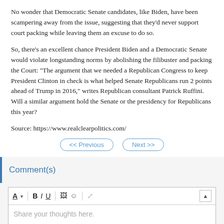No wonder that Democratic Senate candidates, like Biden, have been scampering away from the issue, suggesting that they'd never support court packing while leaving them an excuse to do so.
So, there's an excellent chance President Biden and a Democratic Senate would violate longstanding norms by abolishing the filibuster and packing the Court: "The argument that we needed a Republican Congress to keep President Clinton in check is what helped Senate Republicans run 2 points ahead of Trump in 2016," writes Republican consultant Patrick Ruffini. Will a similar argument hold the Senate or the presidency for Republicans this year?
Source: https://www.realclearpolitics.com/
Comment(s)